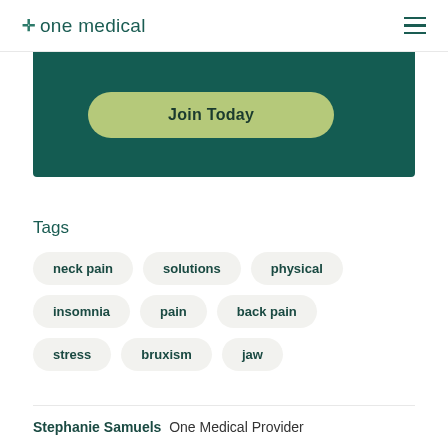✛ one medical (hamburger menu)
[Figure (other): Dark teal banner section with a light green 'Join Today' button]
Tags
neck pain
solutions
physical
insomnia
pain
back pain
stress
bruxism
jaw
Stephanie Samuels  One Medical Provider